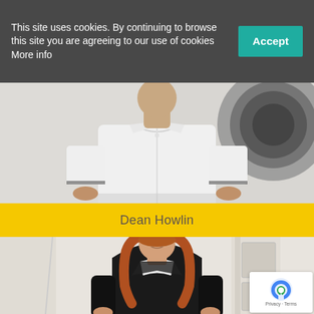This site uses cookies. By continuing to browse this site you are agreeing to our use of cookies More info
[Figure (photo): Cookie consent accept button (teal/green rectangle with white 'Accept' text)]
[Figure (photo): Upper portion of a person wearing a white polo shirt, visible from chest up, against a light grey background]
Dean Howlin
[Figure (photo): Woman with long auburn hair, wearing a black blazer over a white blouse, smiling, standing near a wooden door/staircase in a light-coloured interior]
[Figure (other): reCAPTCHA badge with Privacy and Terms text]